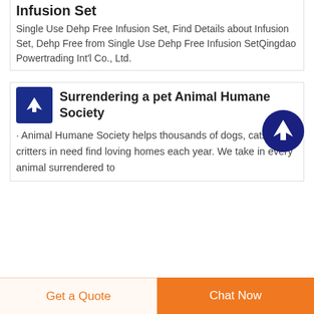Infusion Set
Single Use Dehp Free Infusion Set, Find Details about Infusion Set, Dehp Free from Single Use Dehp Free Infusion SetQingdao Powertrading Int'l Co., Ltd.
Surrendering a pet Animal Humane Society
· Animal Humane Society helps thousands of dogs, cats, and critters in need find loving homes each year. We take in every animal surrendered to
[Figure (logo): Blue square icon with white airplane/arrow symbol]
[Figure (illustration): Dark blue circle with white upward arrow scroll-to-top button]